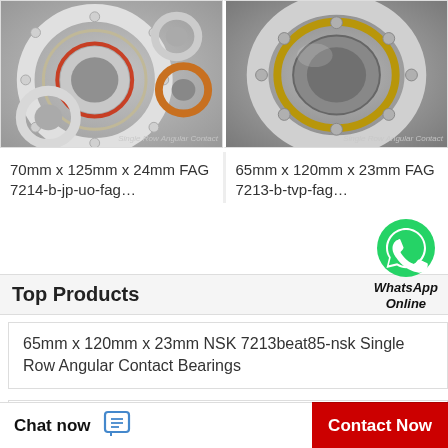[Figure (photo): Multiple silver ball bearings (single row angular contact) arranged on gray background]
Single Row Angular Contact
[Figure (photo): Single large silver and gold ball bearing (single row angular contact) on gray background]
Single Row Angular Contact
70mm x 125mm x 24mm FAG 7214-b-jp-uo-fag…
65mm x 120mm x 23mm FAG 7213-b-tvp-fag…
Top Products
[Figure (logo): WhatsApp green phone icon with WhatsApp Online label]
65mm x 120mm x 23mm NSK 7213beat85-nsk Single Row Angular Contact Bearings
15mm x 32mm x 9mm FAG 6002-c-c3-fag Radial Ball Bearings
Chat now
Contact Now